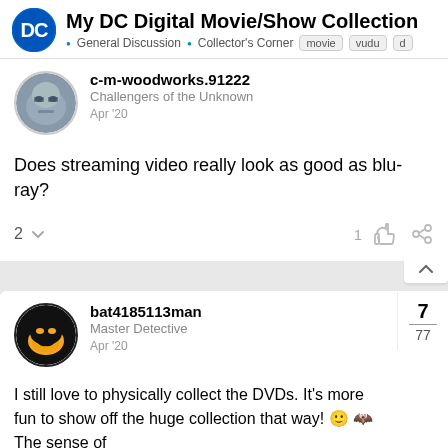My DC Digital Movie/Show Collection • General Discussion • Collector's Corner movie vudu d
c-m-woodworks.91222
Challengers of the Unknown
Apr '20
Does streaming video really look as good as blu-ray?
2  1
bat4185113man
Master Detective
Apr '20
I still love to physically collect the DVDs. It's more fun to show off the huge collection that way! 🙂 🦇 The sense of